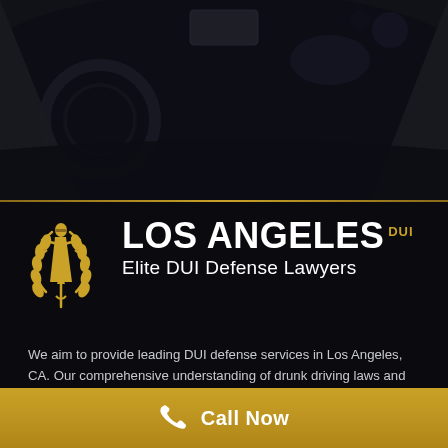[Figure (photo): Dark car interior dashboard photo as background header]
[Figure (logo): Lady Justice figure holding scales logo in gold, with laurel wreath]
LOS ANGELES DUI Elite DUI Defense Lawyers
We aim to provide leading DUI defense services in Los Angeles, CA. Our comprehensive understanding of drunk driving laws and the DUI industry gives our clients the opportunity to capitalize on extensive experience and fight for their rights. We battle vigorously for all of our clients who have been charged with impaired driving, over 80m.g care
Call Now